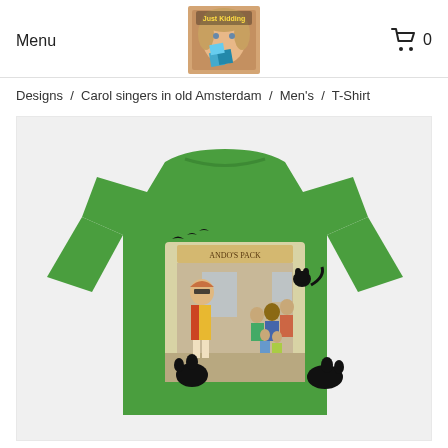Menu  Just Kidding  0
Designs  /  Carol singers in old Amsterdam  /  Men's  /  T-Shirt
[Figure (photo): Green men's t-shirt with a design showing carol singers in old Amsterdam. The design features vintage-style illustrated characters including a glamorous woman with sunglasses, carol singers in period costume, black cats, and birds, set against a backdrop of an old Amsterdam street scene with a shop sign reading 'ANDO'S PACK'.]